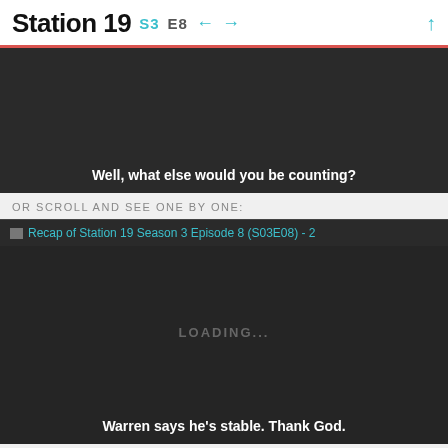Station 19  S3  E8  ← →  ↑
[Figure (screenshot): Dark video frame showing subtitle: Well, what else would you be counting?]
OR SCROLL AND SEE ONE BY ONE:
[Figure (screenshot): Dark video frame with loading state, image labeled 'Recap of Station 19 Season 3 Episode 8 (S03E08) - 2', showing LOADING... and subtitle: Warren says he's stable. Thank God.]